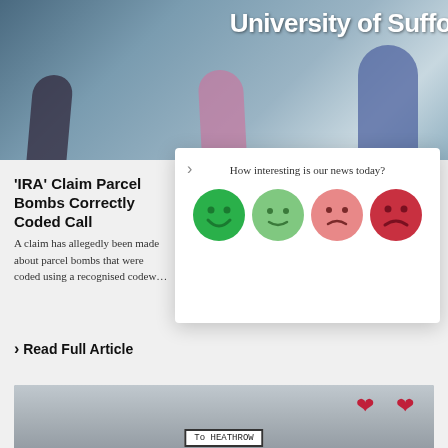[Figure (photo): University of Suffolk building exterior with people walking past, blurred motion, glass facade]
[Figure (infographic): Popup overlay with question 'How interesting is our news today?' and four emoji faces ranging from happy (dark green) to slightly happy (light green) to slightly sad (light red/pink) to sad (dark red)]
'IRA' Claim Parcel Bombs Correctly Coded Call
A claim has allegedly been made about parcel bombs that were coded using a recognised codeword
> Read Full Article
[Figure (photo): Grey parcel/package with a label reading 'To HEATHROW' and two red heart stickers visible]